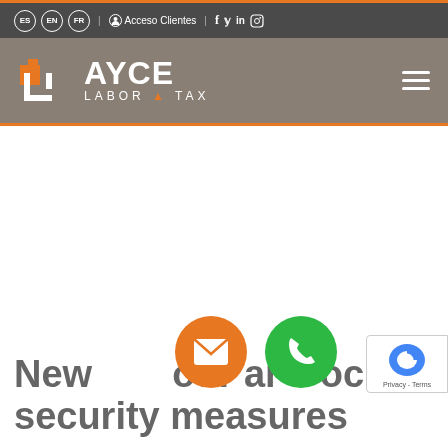ES EN FR | Acceso Clientes | f y in IG
[Figure (logo): AYCE LABOR & TAX logo on brownish-grey header bar with hamburger menu icon on right]
New labour and social security measures